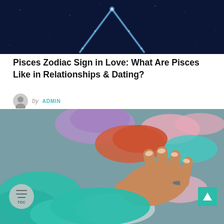[Figure (photo): Dark navy blue background with a glowing blue constellation or star pattern forming an arch/triangular shape, resembling a zodiac symbol]
Pisces Zodiac Sign in Love: What Are Pisces Like in Relationships & Dating?
by ADMIN
[Figure (photo): Close-up of a hand with a ring touching colorful silicone or fabric items in various colors including teal, purple, orange, and pink]